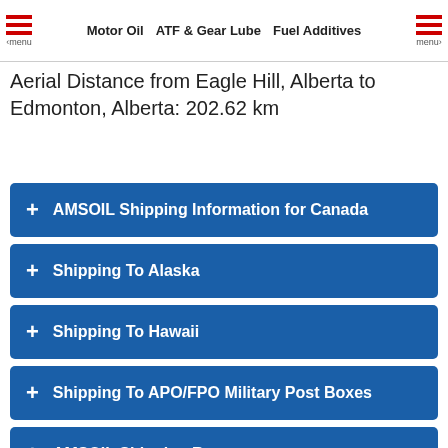menu  Motor Oil  ATF & Gear Lube  Fuel Additives  menu
Aerial Distance from Eagle Hill, Alberta to Edmonton, Alberta: 202.62 km
+ AMSOIL Shipping Information for Canada
+ Shipping To Alaska
+ Shipping To Hawaii
+ Shipping To APO/FPO Military Post Boxes
+ AMSOIL Shipping Rates
+ Local Pickup Information
+ Canada Provincial Sales Tax Information